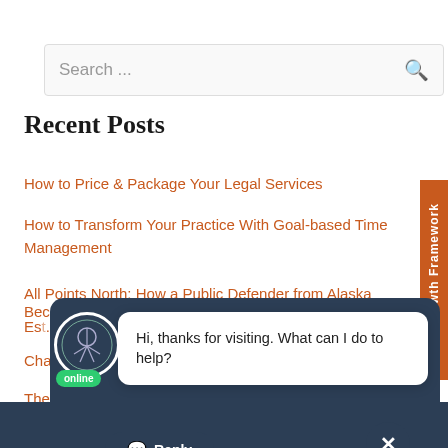[Figure (screenshot): Search box with placeholder text 'Search ...' and a search icon on the right]
Recent Posts
How to Price & Package Your Legal Services
How to Transform Your Practice With Goal-based Time Management
All Points North: How a Public Defender from Alaska Became Es[trepren]nn[euse]
Cha[nge Thro]ugh...
The Change-Maker
[Figure (screenshot): Chat widget overlay with avatar, online badge, message bubble saying 'Hi, thanks for visiting. What can I do to help?', Reply button, and close button]
[Figure (other): Orange sidebar tab reading 'Our Growth Framework' vertically]
CAREERS & PARTNERSHIPS